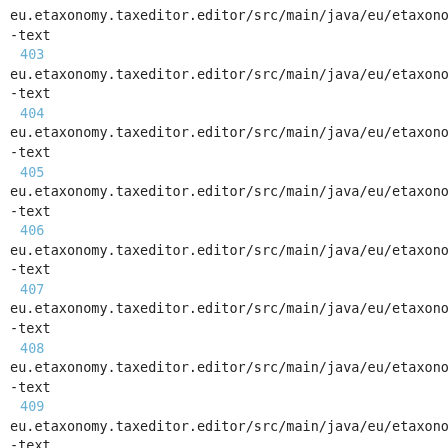eu.etaxonomy.taxeditor.editor/src/main/java/eu/etaxonomy
-text
403
eu.etaxonomy.taxeditor.editor/src/main/java/eu/etaxonomy
-text
404
eu.etaxonomy.taxeditor.editor/src/main/java/eu/etaxonomy
-text
405
eu.etaxonomy.taxeditor.editor/src/main/java/eu/etaxonomy
-text
406
eu.etaxonomy.taxeditor.editor/src/main/java/eu/etaxonomy
-text
407
eu.etaxonomy.taxeditor.editor/src/main/java/eu/etaxonomy
-text
408
eu.etaxonomy.taxeditor.editor/src/main/java/eu/etaxonomy
-text
409
eu.etaxonomy.taxeditor.editor/src/main/java/eu/etaxonomy
-text
410
eu.etaxonomy.taxeditor.editor/src/main/java/eu/etaxonomy